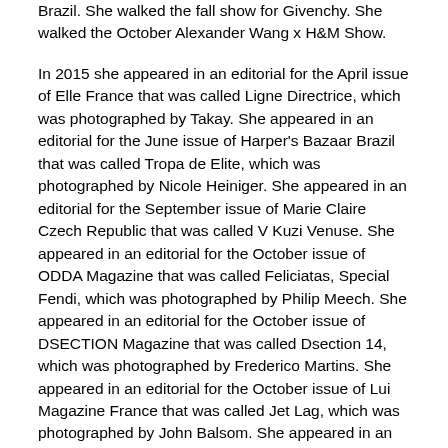Brazil. She walked the fall show for Givenchy. She walked the October Alexander Wang x H&M Show.
In 2015 she appeared in an editorial for the April issue of Elle France that was called Ligne Directrice, which was photographed by Takay. She appeared in an editorial for the June issue of Harper's Bazaar Brazil that was called Tropa de Elite, which was photographed by Nicole Heiniger. She appeared in an editorial for the September issue of Marie Claire Czech Republic that was called V Kuzi Venuse. She appeared in an editorial for the October issue of ODDA Magazine that was called Feliciatas, Special Fendi, which was photographed by Philip Meech. She appeared in an editorial for the October issue of DSECTION Magazine that was called Dsection 14, which was photographed by Frederico Martins. She appeared in an editorial for the October issue of Lui Magazine France that was called Jet Lag, which was photographed by John Balsom. She appeared in an editorial for the October issue of So' Chic Magazine that was called Ratio of Power by